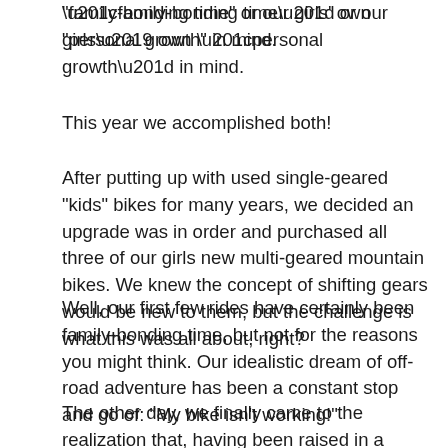“family-bonding time” or our girls’ own “personal growth” in mind.
This year we accomplished both!
After putting up with used single-geared “kids” bikes for many years, we decided an upgrade was in order and purchased all three of our girls new multi-geared mountain bikes. We knew the concept of shifting gears would be new to them, but the challenge is what this was all about, right?
Well, our first few rides have certainly been family-bonding time, but not for the reasons you might think. Our idealistic dream of off-road adventure has been a constant stop and go of: “My bike isn’t working!”
The other day, we finally came to the realization that, having been raised in a digital world, our kids expect to